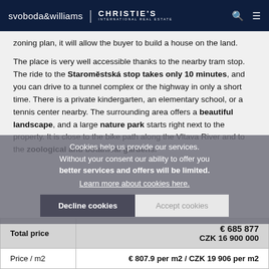svoboda&williams | CHRISTIE'S INTERNATIONAL REAL ESTATE
zoning plan, it will allow the buyer to build a house on the land.
The place is very well accessible thanks to the nearby tram stop. The ride to the Staroměstská stop takes only 10 minutes, and you can drive to a tunnel complex or the highway in only a short time. There is a private kindergarten, an elementary school, or a tennis center nearby. The surrounding area offers a beautiful landscape, and a large nature park starts right next to the property. It is close to the bike path along the Vltava River and to the zoological and botanical gardens.
Total area 849 m2.
|  | Price |
| --- | --- |
| Total price | € 685 877
CZK 16 900 000 |
| Price / m2 | € 807.9 per m2 / CZK 19 906 per m2 |